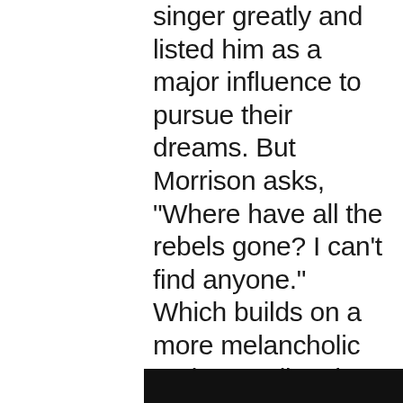singer greatly and listed him as a major influence to pursue their dreams. But Morrison asks, "Where have all the rebels gone? I can't find anyone." Which builds on a more melancholic understanding that commercial views and "pr stunts" have usurped his contemporaries. As Morrison takes this introspective vista, the track "Psychoanalysts' Ball" brings a bluesy examination of the human mind. The singer's spiritual side encapsulated the music and lyrics that have been remedied time and time again. Here, self-help and reassurance question whether the judgment of a person's mood from others have been appropriate.
[Figure (other): Black bar/rectangle at the bottom of the page]